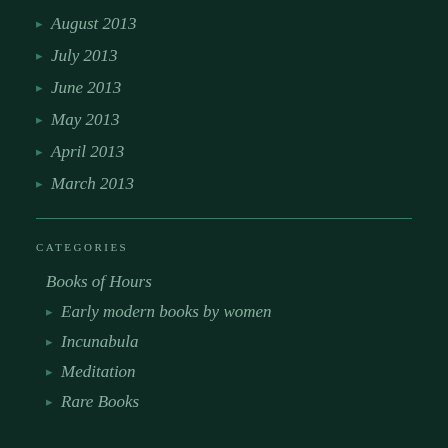August 2013
July 2013
June 2013
May 2013
April 2013
March 2013
CATEGORIES
Books of Hours
Early modern books by women
Incunabula
Meditation
Rare Books